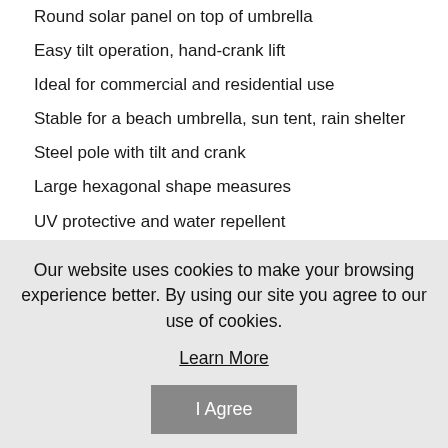Round solar panel on top of umbrella
Easy tilt operation, hand-crank lift
Ideal for commercial and residential use
Stable for a beach umbrella, sun tent, rain shelter
Steel pole with tilt and crank
Large hexagonal shape measures
UV protective and water repellent
Easy-to-operate
We suggest that you not leave the umbrella open in windy conditions
Our website uses cookies to make your browsing experience better. By using our site you agree to our use of cookies.
Learn More
I Agree